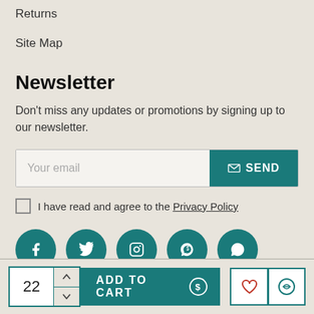Returns
Site Map
Newsletter
Don't miss any updates or promotions by signing up to our newsletter.
Your email  SEND
I have read and agree to the Privacy Policy
[Figure (infographic): Social media icons: Facebook, Twitter, Instagram, Skype, WhatsApp]
22  ADD TO CART